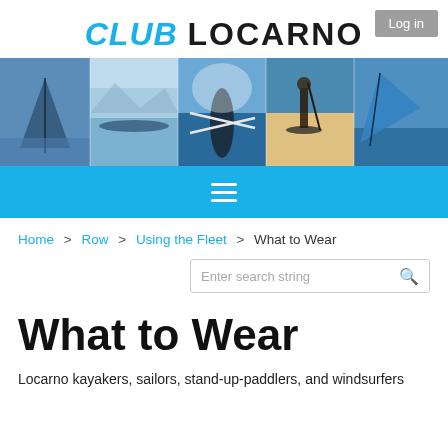Log in
CLUB LOCARNO
[Figure (photo): Hero strip of 5 water sport images: sailing, kayaking, rowing, stand-up paddleboarding, windsurfing]
Navigation menu (hamburger icon)
Home > Row > Using the Fleet > What to Wear
Enter search string
What to Wear
Locarno kayakers, sailors, stand-up-paddlers, and windsurfers